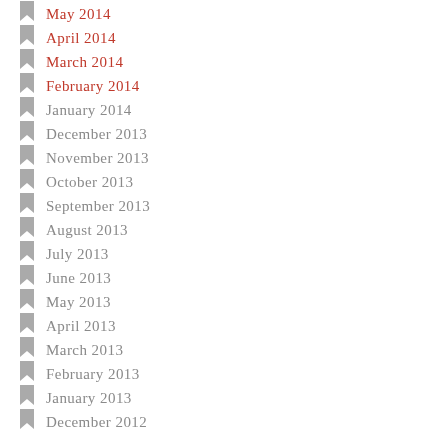May 2014
April 2014
March 2014
February 2014
January 2014
December 2013
November 2013
October 2013
September 2013
August 2013
July 2013
June 2013
May 2013
April 2013
March 2013
February 2013
January 2013
December 2012